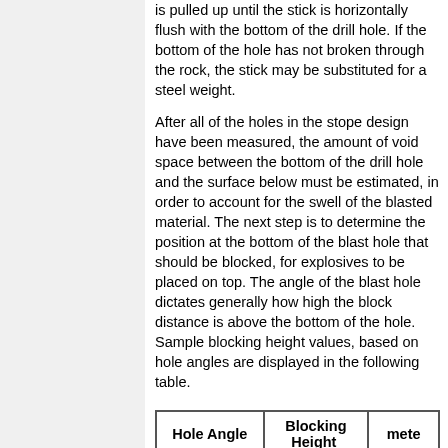is pulled up until the stick is horizontally flush with the bottom of the drill hole. If the bottom of the hole has not broken through the rock, the stick may be substituted for a steel weight.
After all of the holes in the stope design have been measured, the amount of void space between the bottom of the drill hole and the surface below must be estimated, in order to account for the swell of the blasted material. The next step is to determine the position at the bottom of the blast hole that should be blocked, for explosives to be placed on top. The angle of the blast hole dictates generally how high the block distance is above the bottom of the hole. Sample blocking height values, based on hole angles are displayed in the following table.
| Hole Angle | Blocking Height |  |
| --- | --- | --- |
| (°) | feet | mete |
| 80 - 90 | 4 | 1.2 |